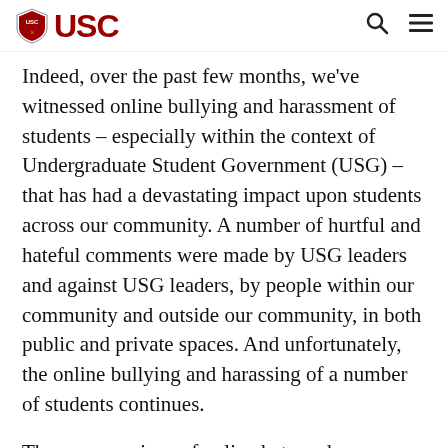USC
Indeed, over the past few months, we've witnessed online bullying and harassment of students – especially within the context of Undergraduate Student Government (USG) – that has had a devastating impact upon students across our community. A number of hurtful and hateful comments were made by USG leaders and against USG leaders, by people within our community and outside our community, in both public and private spaces. And unfortunately, the online bullying and harassing of a number of students continues.
These expressions of online hate and harassment have targeted Muslim, Jewish, Palestinian, Black,